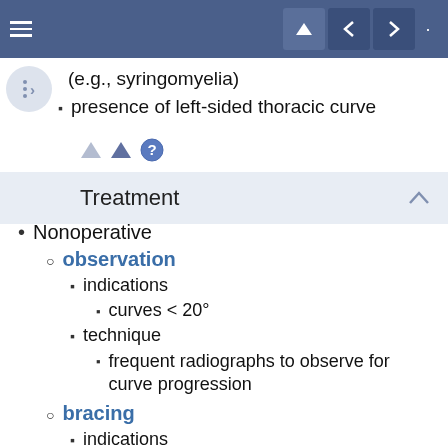Navigation bar with hamburger menu and navigation buttons
(e.g., syringomyelia)
presence of left-sided thoracic curve
Treatment
Nonoperative
observation
indications
curves < 20°
technique
frequent radiographs to observe for curve progression
bracing
indications
curves 20 - 50°
designed to prevent curve progression, not correct the curve
relative contraindication to bracing is